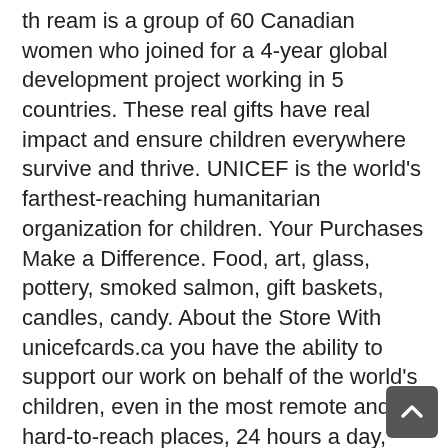th  ream is a group of 60 Canadian women who joined for a 4-year global development project working in 5 countries. These real gifts have real impact and ensure children everywhere survive and thrive. UNICEF is the world's farthest-reaching humanitarian organization for children. Your Purchases Make a Difference. Food, art, glass, pottery, smoked salmon, gift baskets, candles, candy. About the Store With unicefcards.ca you have the ability to support our work on behalf of the world's children, even in the most remote and hard-to-reach places, 24 hours a day, seven days a week. Join us, and you can help change the world for children. Blue Plush UNICEF Shoes with Gift Box . Every gift purchased from UNICEF Market helps UNICEF save children's lives around the world. © Canadian UNICEF Committee. Thanks to your ongoing support, you ensure that children in need are … We need to help these children now. Millions of children in Yemen are at risk of being malnourished. Every item you buy on UNICEF